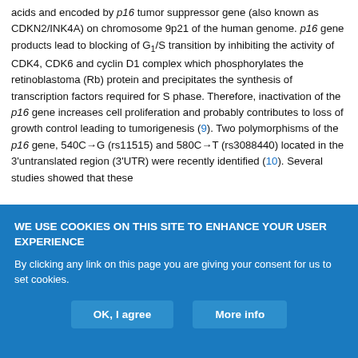acids and encoded by p16 tumor suppressor gene (also known as CDKN2/INK4A) on chromosome 9p21 of the human genome. p16 gene products lead to blocking of G1/S transition by inhibiting the activity of CDK4, CDK6 and cyclin D1 complex which phosphorylates the retinoblastoma (Rb) protein and precipitates the synthesis of transcription factors required for S phase. Therefore, inactivation of the p16 gene increases cell proliferation and probably contributes to loss of growth control leading to tumorigenesis (9). Two polymorphisms of the p16 gene, 540C→G (rs11515) and 580C→T (rs3088440) located in the 3'untranslated region (3'UTR) were recently identified (10). Several studies showed that these
WE USE COOKIES ON THIS SITE TO ENHANCE YOUR USER EXPERIENCE
By clicking any link on this page you are giving your consent for us to set cookies.